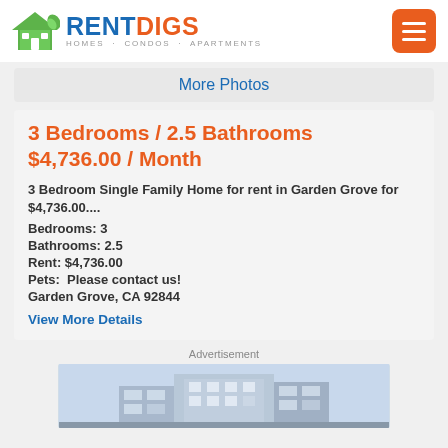RENT DIGS — HOMES · CONDOS · APARTMENTS
More Photos
3 Bedrooms / 2.5 Bathrooms $4,736.00 / Month
3 Bedroom Single Family Home for rent in Garden Grove for $4,736.00....
Bedrooms: 3
Bathrooms: 2.5
Rent: $4,736.00
Pets:  Please contact us!
Garden Grove, CA 92844
View More Details
Advertisement
[Figure (photo): Advertisement photo showing a building exterior]